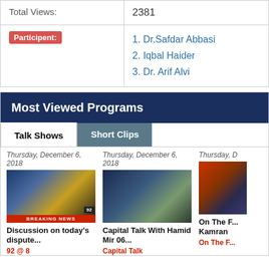|  |  |
| --- | --- |
| Total Views: | 2381 |
| Participent: | 1. Dr.Safdar Abbasi
2. Iqbal Haider
3. Dr. Arif Alvi |
Most Viewed Programs
Talk Shows | Short Clips
Thursday, December 6, 2018
[Figure (screenshot): TV news program screenshot - Breaking News on 92 channel]
Discussion on today's dispute...
92 @ 8
Thursday, December 6, 2018
[Figure (screenshot): TV talk show screenshot - Capital Talk with Hamid Mir]
Capital Talk With Hamid Mir 06...
Capital Talk
Thursday, D
[Figure (screenshot): TV program screenshot - On The Front with Kamran]
On The F... Kamran
On The F...